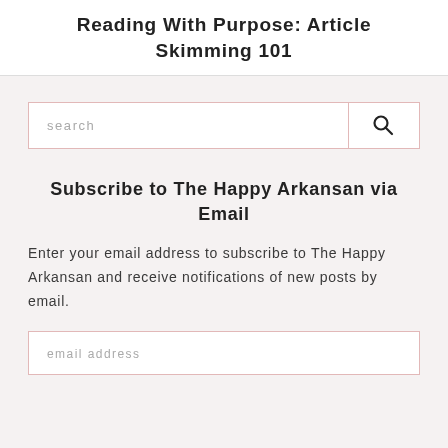Reading With Purpose: Article Skimming 101
[Figure (other): Search bar with text input field labeled 'search' and a search icon button on the right, bordered in light pink/rose color]
Subscribe to The Happy Arkansan via Email
Enter your email address to subscribe to The Happy Arkansan and receive notifications of new posts by email.
[Figure (other): Email address input field with placeholder text 'email address', bordered in light pink/rose color]